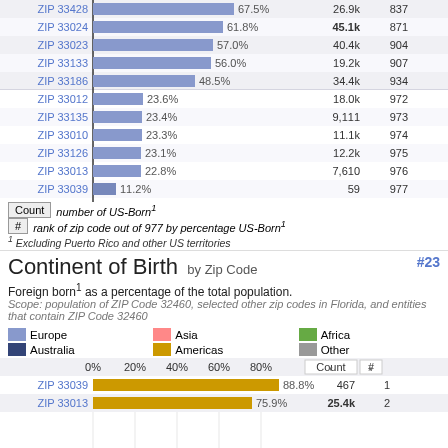[Figure (bar-chart): US-Born by Zip Code (top portion)]
Count  number of US-Born¹
#  rank of zip code out of 977 by percentage US-Born¹
¹ Excluding Puerto Rico and other US territories
Continent of Birth by Zip Code
Foreign born¹ as a percentage of the total population.
Scope: population of ZIP Code 32460, selected other zip codes in Florida, and entities that contain ZIP Code 32460
[Figure (stacked-bar-chart): Continent of Birth by Zip Code]